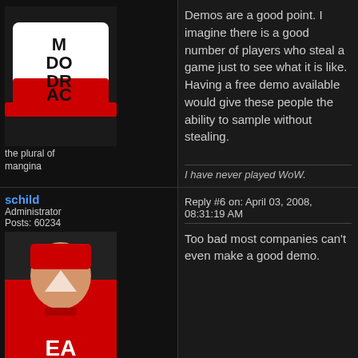Demos are a good point. I imagine there is a good number of players who steal a game just to see what it is like. Having a free demo available would give these people the ability to sample without stealing.
the plural of mangina
I have never played WoW.
schild
Administrator
Posts: 60234
Reply #6 on: April 03, 2008, 08:31:19 AM
Too bad most companies can't even make a good demo.